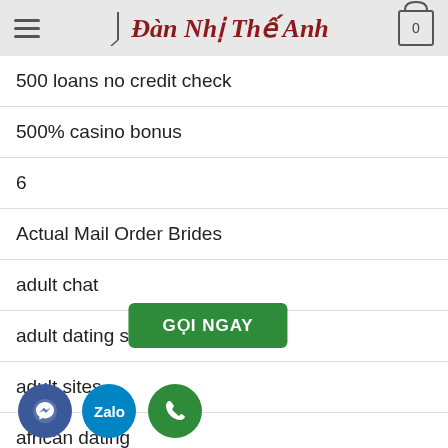Đàn Nhị Thế Anh
500 loans no credit check
500% casino bonus
6
Actual Mail Order Brides
adult chat
adult dating sites
adult sites
african dating
are mail order brides real
... tin... me...
[Figure (infographic): GỌI NGAY green button overlay and three floating circular buttons: Facebook Messenger (blue), Zalo (light blue), Phone call (green)]